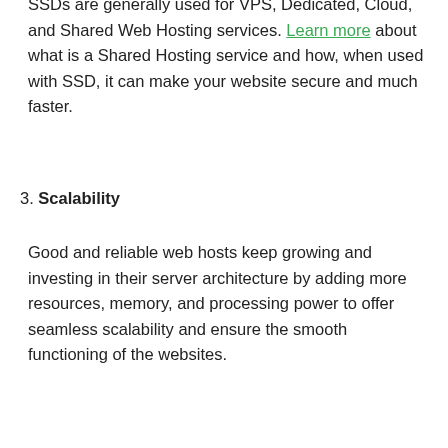SSDs are generally used for VPS, Dedicated, Cloud, and Shared Web Hosting services. Learn more about what is a Shared Hosting service and how, when used with SSD, it can make your website secure and much faster.
3. Scalability
Good and reliable web hosts keep growing and investing in their server architecture by adding more resources, memory, and processing power to offer seamless scalability and ensure the smooth functioning of the websites.